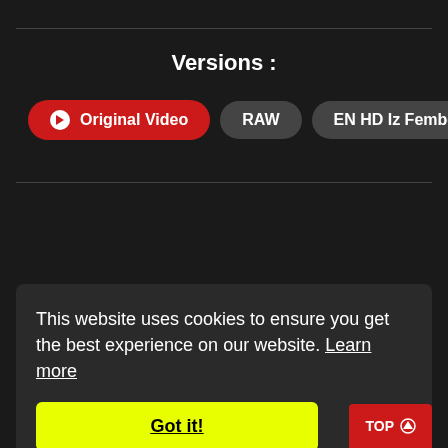Versions :
Original Video | RAW | EN HD Iz Fembed
This website uses cookies to ensure you get the best experience on our website. Learn more
Got it!
TOP